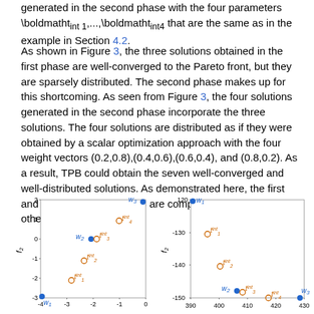generated in the second phase with the four parameters \boldmatht_int1,...,\boldmatht_int4 that are the same as in the example in Section 4.2.
As shown in Figure 3, the three solutions obtained in the first phase are well-converged to the Pareto front, but they are sparsely distributed. The second phase makes up for this shortcoming. As seen from Figure 3, the four solutions generated in the second phase incorporate the three solutions. The four solutions are distributed as if they were obtained by a scalar optimization approach with the four weight vectors (0.2,0.8),(0.4,0.6),(0.6,0.4), and (0.8,0.2). As a result, TPB could obtain the seven well-converged and well-distributed solutions. As demonstrated here, the first and second phases in TPB are complementary to each other.
[Figure (scatter-plot): Left scatter plot showing w1, w2, w3 solutions and t_int1 through t_int4 intermediate points]
[Figure (scatter-plot): Right scatter plot showing w1, w2, w3 solutions and t_int1 through t_int4 intermediate points with different axis ranges]